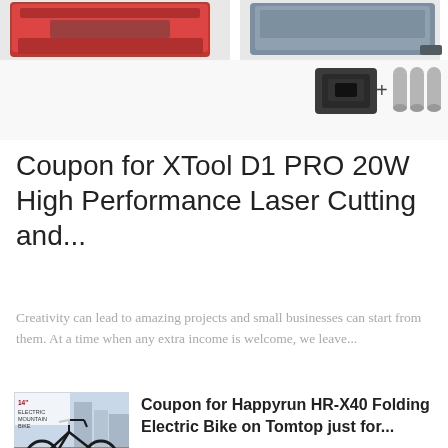[Figure (photo): Top portion of page showing two laser cutter/engraver product images on left and right, with accessories (brackets and tubes) shown in center-right area on white background]
Coupon for XTool D1 PRO 20W High Performance Laser Cutting and...
Creativity can lead to amazing projects and small businesses can start from them. At a time when any extra income is welcome, we leave...
[Figure (photo): Electric mountain bike (14 inch folding electric bike) parked on road with city buildings in background]
Coupon for Happyrun HR-X40 Folding Electric Bike on Tomtop just for...
[Figure (photo): Framed Nintendo Game Boy disassembled collectible art piece in black frame on shelf]
Xreart launches Nintendo Game Boy disassembled collectible frame for $179